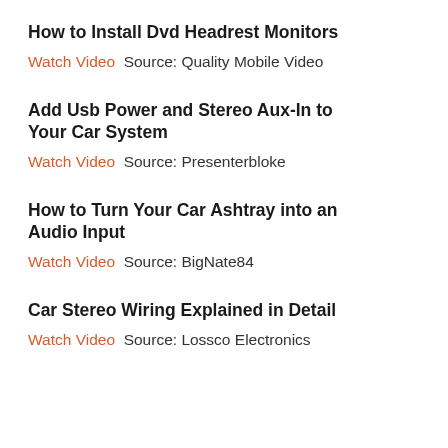How to Install Dvd Headrest Monitors
Watch Video  Source: Quality Mobile Video
Add Usb Power and Stereo Aux-In to Your Car System
Watch Video  Source: Presenterbloke
How to Turn Your Car Ashtray into an Audio Input
Watch Video  Source: BigNate84
Car Stereo Wiring Explained in Detail
Watch Video  Source: Lossco Electronics